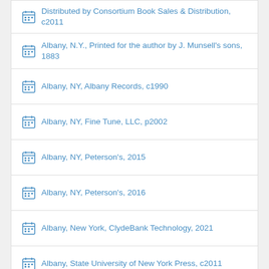Distributed by Consortium Book Sales & Distribution, c2011
Albany, N.Y., Printed for the author by J. Munsell's sons, 1883
Albany, NY, Albany Records, c1990
Albany, NY, Fine Tune, LLC, p2002
Albany, NY, Peterson's, 2015
Albany, NY, Peterson's, 2016
Albany, New York, ClydeBank Technology, 2021
Albany, State University of New York Press, c2011
Albany, State University of New York, 1964
Albuquerque, N. M., Sun Pub. Co., 1976
Albuquerque, NM, Arbor Farm Press, c2013